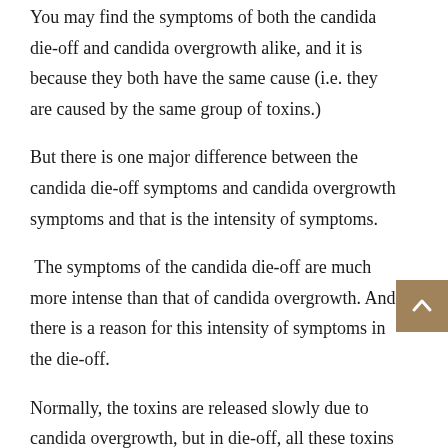You may find the symptoms of both the candida die-off and candida overgrowth alike, and it is because they both have the same cause (i.e. they are caused by the same group of toxins.)
But there is one major difference between the candida die-off symptoms and candida overgrowth symptoms and that is the intensity of symptoms.
The symptoms of the candida die-off are much more intense than that of candida overgrowth. And there is a reason for this intensity of symptoms in the die-off.
Normally, the toxins are released slowly due to candida overgrowth, but in die-off, all these toxins are released at once like a flood in the